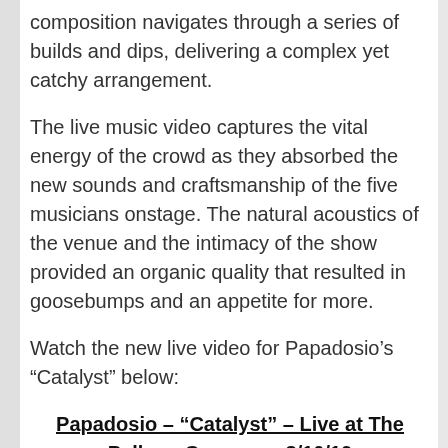composition navigates through a series of builds and dips, delivering a complex yet catchy arrangement.
The live music video captures the vital energy of the crowd as they absorbed the new sounds and craftsmanship of the five musicians onstage. The natural acoustics of the venue and the intimacy of the show provided an organic quality that resulted in goosebumps and an appetite for more.
Watch the new live video for Papadosio’s “Catalyst” below:
Papadosio – “Catalyst” – Live at The Pelham Caverns – 8/10/19